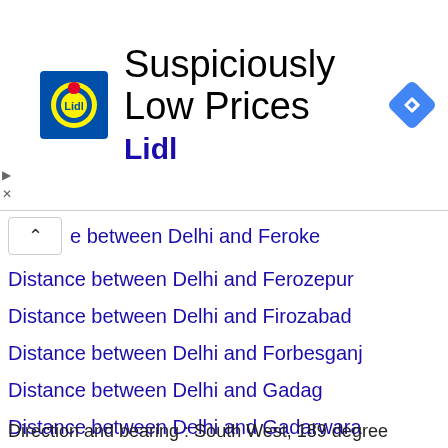[Figure (logo): Lidl advertisement banner with Lidl logo and navigation icon, title 'Suspiciously Low Prices', brand name 'Lidl']
e between Delhi and Feroke
Distance between Delhi and Ferozepur
Distance between Delhi and Firozabad
Distance between Delhi and Forbesganj
Distance between Delhi and Gadag
Distance between Delhi and Gadarwara
Distance between Delhi and Gadchiroli
Distance between Delhi and Gadwal
Distance between Delhi and Gajapati
Distance between Delhi and Gajraula
Distance between Delhi and Gajuwaka
Distance between Delhi and Ganagapur
Distance between Delhi and Ganagapura
Direction and bearing : South West, 189 degree